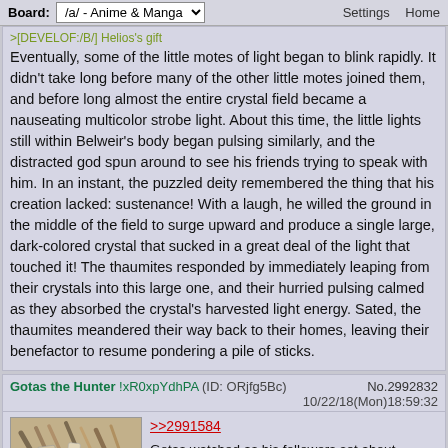Board: /a/ - Anime & Manga   Settings  Home
>[EVELOP:/B/] Helios's gift
Eventually, some of the little motes of light began to blink rapidly. It didn't take long before many of the other little motes joined them, and before long almost the entire crystal field became a nauseating multicolor strobe light. About this time, the little lights still within Belweir's body began pulsing similarly, and the distracted god spun around to see his friends trying to speak with him. In an instant, the puzzled deity remembered the thing that his creation lacked: sustenance! With a laugh, he willed the ground in the middle of the field to surge upward and produce a single large, dark-colored crystal that sucked in a great deal of the light that touched it! The thaumites responded by immediately leaping from their crystals into this large one, and their hurried pulsing calmed as they absorbed the crystal's harvested light energy. Sated, the thaumites meandered their way back to their homes, leaving their benefactor to resume pondering a pile of sticks.
Gotas the Hunter !xR0xpYdhPA (ID: ORjfg5Bc)
10/22/18(Mon)18:59:32 No.2992832
[Figure (photo): Photo of sticks/twigs and tools laid out on a surface, 61 KB JPG]
>>2991584
Gotas watched as his followers set about running down and tearing apart the Sirvee with nothing more than their bare hands. He shook his head, this was not a hunt. This was barbarism, there was no beauty in it. He